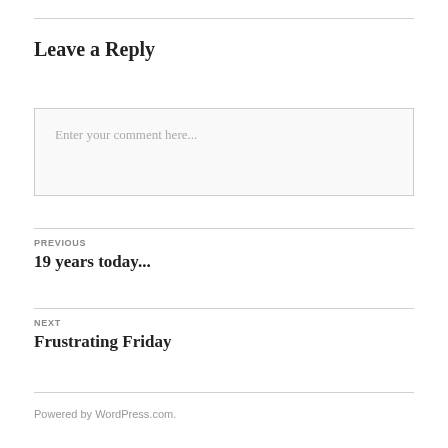Leave a Reply
Enter your comment here...
PREVIOUS
19 years today...
NEXT
Frustrating Friday
Powered by WordPress.com.